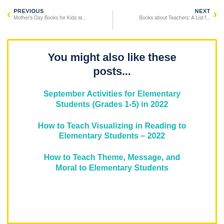PREVIOUS | Mother's Day Books for Kids at... | NEXT | Books about Teachers: A List f...
You might also like these posts...
September Activities for Elementary Students (Grades 1-5) in 2022
How to Teach Visualizing in Reading to Elementary Students - 2022
How to Teach Theme, Message, and Moral to Elementary Students